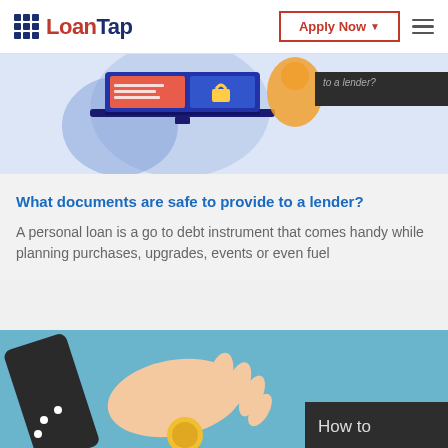LoanTap — Apply Now
[Figure (illustration): Laptop with document and lock icon illustration on a light blue/lavender background, with a partially visible dark label reading 'to a lender?']
What documents are safe to provide to a lender?
A personal loan is a go to debt instrument that comes handy while planning purchases, upgrades, events or even fuel
[Figure (illustration): Hand holding coins/money illustration on a teal/blue background with a dark label reading 'How to']